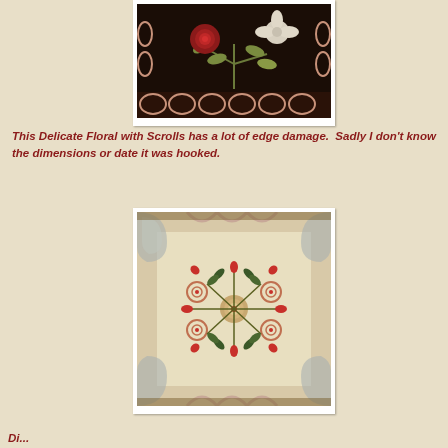[Figure (photo): Close-up photograph of a hooked rug showing floral design with scrolls — red rose, white flower, green leaves on dark brown/black background with pink scroll border design]
This Delicate Floral with Scrolls has a lot of edge damage.  Sadly I don't know the dimensions or date it was hooked.
[Figure (photo): Photograph of a hooked rug with floral and scroll design — cream/beige background with teal/dark green leaf sprays, red rosebuds, circular rose motifs, and grey scroll border corners]
Di...  D...